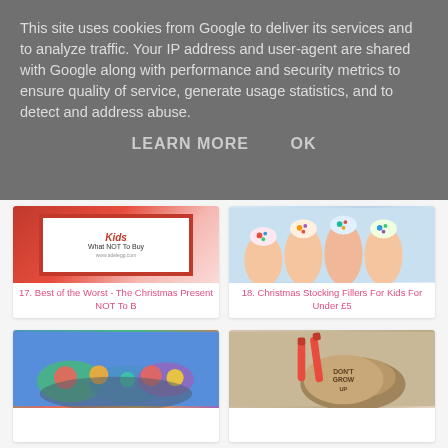This site uses cookies from Google to deliver its services and to analyze traffic. Your IP address and user-agent are shared with Google along with performance and security metrics to ensure quality of service, generate usage statistics, and to detect and address abuse.
LEARN MORE    OK
[Figure (photo): Image for item 17: Christmas present – book with red background showing 'Kids What NOT To Buy']
17. Best of the Worst - The Christmas Present NOT To B
[Figure (photo): Image for item 18: Christmas stocking fillers – decorated nails with colorful patterns]
18. Christmas Stocking Fillers For Kids For Under £5
[Figure (photo): Image for item 19: Colorful toys/candies with blurred background]
[Figure (photo): Image for item 20: Wooden craft items with 'Don't Grow Up' text and red markers]